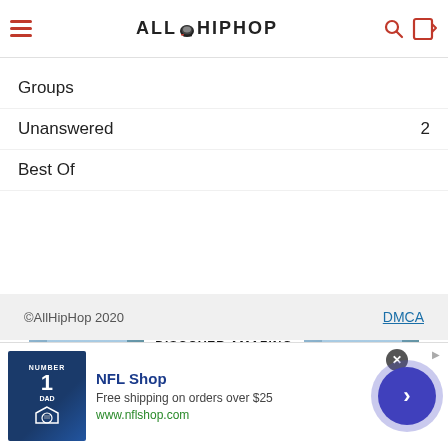AllHipHop
Groups
Unanswered  2
Best Of
[Figure (illustration): ezoic ad banner: Discover Amazing Travel Sidestage.com, with Yosemite mountain photos on left and right]
©AllHipHop 2020  DMCA
[Figure (illustration): NFL Shop bottom ad strip: jersey image, NFL Shop heading, Free shipping on orders over $25, www.nflshop.com, with arrow button and close X]